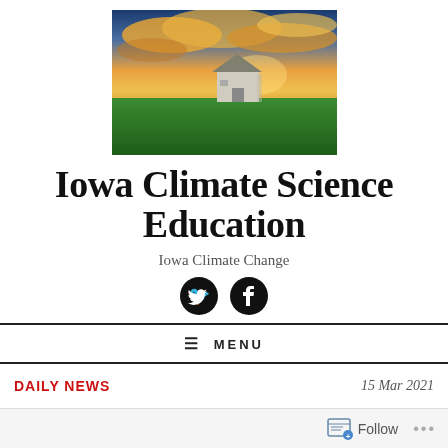[Figure (photo): Photograph of a white barn on a green field under a dramatic golden-orange sunset sky with clouds]
Iowa Climate Science Education
Iowa Climate Change
[Figure (infographic): Twitter and Facebook social media icons (white birds/f on black circles)]
≡ MENU
DAILY NEWS
15 Mar 2021
Follow ...